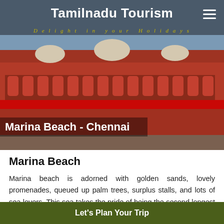Tamilnadu Tourism — Delight in your Holidays
[Figure (photo): Hero image of a grand red building (likely Chennai Central station or similar landmark) with arches and red banners. Text overlay reads 'Marina Beach - Chennai'.]
Marina Beach
Marina beach is adorned with golden sands, lovely promenades, queued up palm trees, surplus stalls, and lots of sea lovers. This sea takes the pride of being the second longest beach in the world. The cool embrace of the air cuddles you as you go on a peaceful stroll, and the foamy waters will tickle your feet as you go near it. This little paradise can bring all your sweet memories come back again.
Let's Plan Your Trip